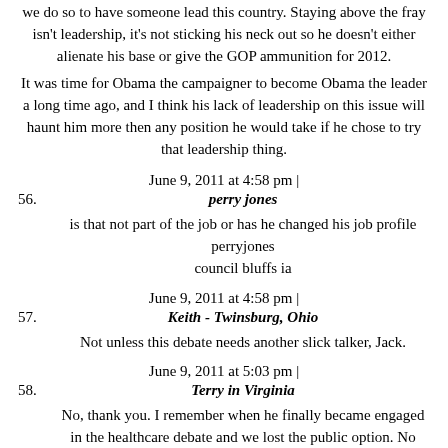we do so to have someone lead this country. Staying above the fray isn't leadership, it's not sticking his neck out so he doesn't either alienate his base or give the GOP ammunition for 2012.
It was time for Obama the campaigner to become Obama the leader a long time ago, and I think his lack of leadership on this issue will haunt him more then any position he would take if he chose to try that leadership thing.
June 9, 2011 at 4:58 pm |
56. perry jones
is that not part of the job or has he changed his job profile perryjones council bluffs ia
June 9, 2011 at 4:58 pm |
57. Keith - Twinsburg, Ohio
Not unless this debate needs another slick talker, Jack.
June 9, 2011 at 5:03 pm |
58. Terry in Virginia
No, thank you. I remember when he finally became engaged in the healthcare debate and we lost the public option. No